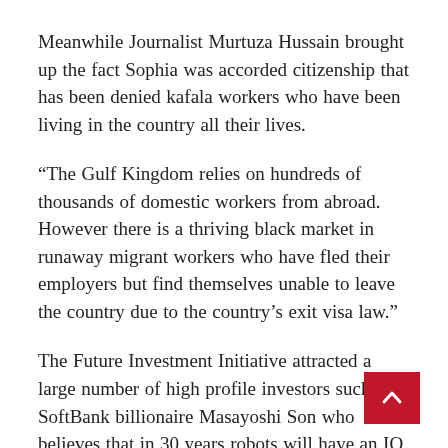Meanwhile Journalist Murtuza Hussain brought up the fact Sophia was accorded citizenship that has been denied kafala workers who have been living in the country all their lives.
“The Gulf Kingdom relies on hundreds of thousands of domestic workers from abroad. However there is a thriving black market in runaway migrant workers who have fled their employers but find themselves unable to leave the country due to the country’s exit visa law.”
The Future Investment Initiative attracted a large number of high profile investors such as SoftBank billionaire Masayoshi Son who believes that in 30 years robots will have an IQ of 10,000.